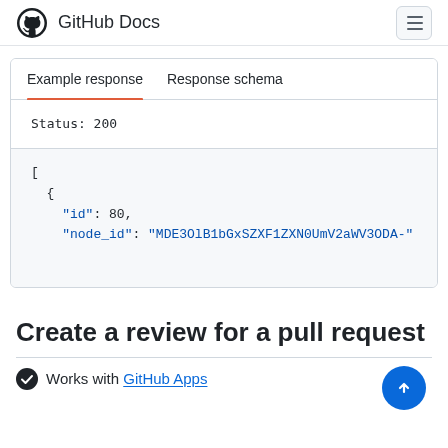GitHub Docs
Example response	Response schema
Status: 200
[
  {
    "id": 80,
    "node_id": "MDE3OlB1bGxSZXF1ZXN0UmV2aWV3ODA="
Create a review for a pull request
Works with GitHub Apps